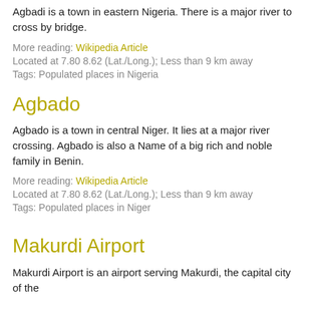Agbadi is a town in eastern Nigeria. There is a major river to cross by bridge.
More reading: Wikipedia Article
Located at 7.80 8.62 (Lat./Long.); Less than 9 km away
Tags: Populated places in Nigeria
Agbado
Agbado is a town in central Niger. It lies at a major river crossing. Agbado is also a Name of a big rich and noble family in Benin.
More reading: Wikipedia Article
Located at 7.80 8.62 (Lat./Long.); Less than 9 km away
Tags: Populated places in Niger
Makurdi Airport
Makurdi Airport is an airport serving Makurdi, the capital city of the